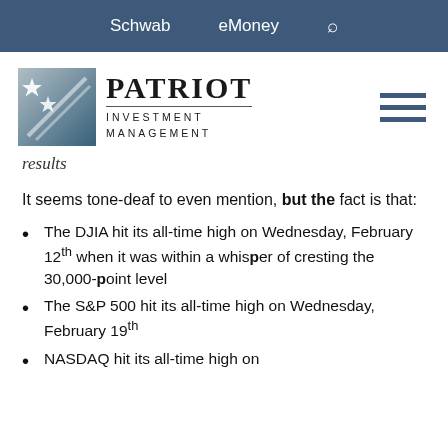Schwab   eMoney   🔍
[Figure (logo): Patriot Investment Management logo with star graphic and company name]
results
It seems tone-deaf to even mention, but the fact is that:
The DJIA hit its all-time high on Wednesday, February 12th when it was within a whisper of cresting the 30,000-point level
The S&P 500 hit its all-time high on Wednesday, February 19th
NASDAQ hit its all-time high on